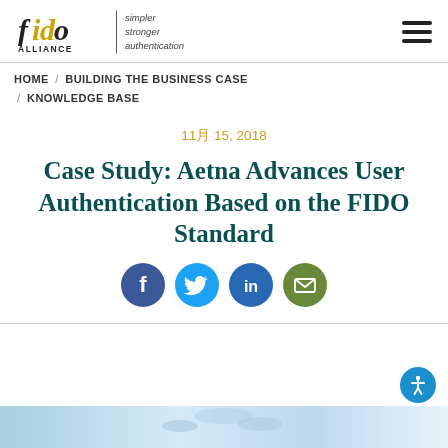FIDO Alliance — simpler stronger authentication
HOME / BUILDING THE BUSINESS CASE / KNOWLEDGE BASE
11月 15, 2018
Case Study: Aetna Advances User Authentication Based on the FIDO Standard
[Figure (infographic): Social sharing icons: Facebook (blue circle), Twitter (light blue circle), LinkedIn (blue circle), Email (green circle)]
[Figure (photo): Partial image at bottom of page, appears to show a person or technology context, light blue tones]